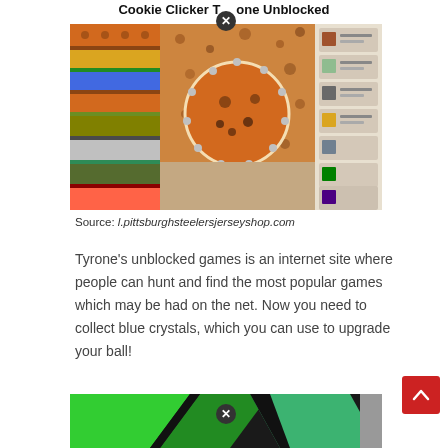[Figure (screenshot): Screenshot of Cookie Clicker Tyrone Unblocked game showing cookie clicker interface with cookie in center, upgrades on left side strips, and shop on right side]
Source: l.pittsburghsteelersjerseyshop.com
Tyrone’s unblocked games is an internet site where people can hunt and find the most popular games which may be had on the net. Now you need to collect blue crystals, which you can use to upgrade your ball!
[Figure (screenshot): Partial screenshot of another unblocked game showing green and black graphics with close button]